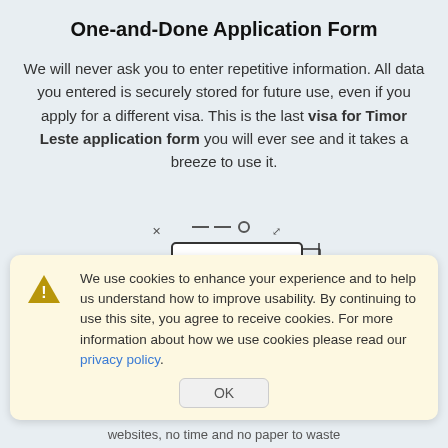One-and-Done Application Form
We will never ask you to enter repetitive information. All data you entered is securely stored for future use, even if you apply for a different visa. This is the last visa for Timor Leste application form you will ever see and it takes a breeze to use it.
[Figure (illustration): Line-art illustration of an ID or application form document with a person icon, form fields, and resize/expand corner markers around it.]
We use cookies to enhance your experience and to help us understand how to improve usability. By continuing to use this site, you agree to receive cookies. For more information about how we use cookies please read our privacy policy.
websites, no time and no paper to waste